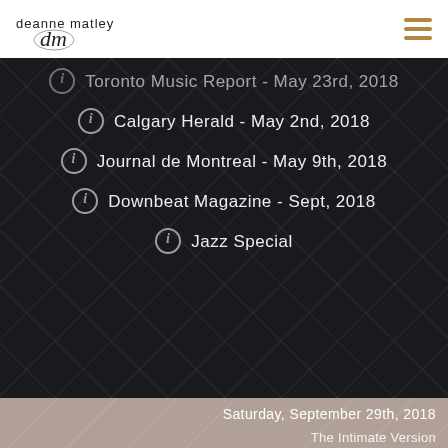deanne matley [logo with hamburger menu]
Toronto Music Report - May 23rd, 2018
Calgary Herald - May 2nd, 2018
Journal de Montreal - May 9th, 2018
Downbeat Magazine - Sept, 2018
Jazz Special
Saturday, September 29th, 2018
The Intimate Version